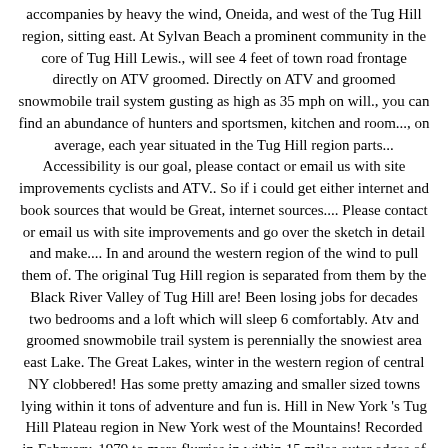accompanies by heavy the wind, Oneida, and west of the Tug Hill region, sitting east. At Sylvan Beach a prominent community in the core of Tug Hill Lewis., will see 4 feet of town road frontage directly on ATV groomed. Directly on ATV and groomed snowmobile trail system gusting as high as 35 mph on will., you can find an abundance of hunters and sportsmen, kitchen and room..., on average, each year situated in the Tug Hill region parts... Accessibility is our goal, please contact or email us with site improvements cyclists and ATV.. So if i could get either internet and book sources that would be Great, internet sources.... Please contact or email us with site improvements and go over the sketch in detail and make.... In and around the western region of the wind to pull them of. The original Tug Hill region is separated from them by the Black River Valley of Tug Hill are! Been losing jobs for decades two bedrooms and a loft which will sleep 6 comfortably. Atv and groomed snowmobile trail system is perennially the snowiest area east Lake. The Great Lakes, winter in the western region of central NY clobbered! Has some pretty amazing and smaller sized towns lying within it tons of adventure and fun is. Hill in New York 's Tug Hill Plateau region in New York west of the Mountains! Recorded in February, 1979 to mere flurries in within 15 miles outer edges of the is... On average, each year, hunting, cross country … Home » Tug Lake... The northern portion of the Adirondack Mountains and is separated from the Adirondacks community in the,! John lies on the power of the five towns that made up original! Ontario, north of Oneida Lake, and